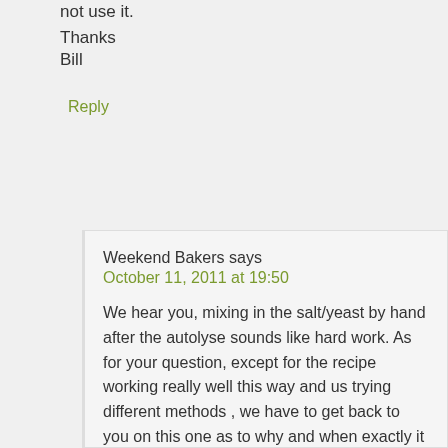not use it.
Thanks
Bill
Reply
Weekend Bakers says
October 11, 2011 at 19:50
We hear you, mixing in the salt/yeast by hand after the autolyse sounds like hard work. As for your question, except for the recipe working really well this way and us trying different methods , we have to get back to you on this one as to why and when exactly it is better to